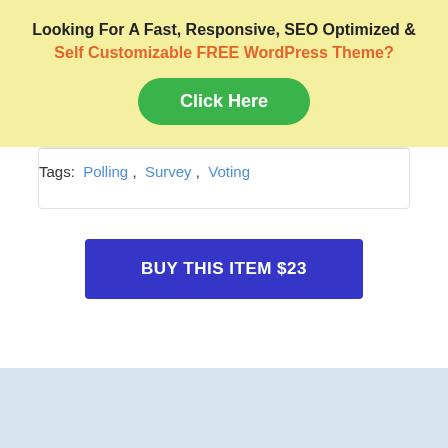Looking For A Fast, Responsive, SEO Optimized & Self Customizable FREE WordPress Theme?
[Figure (other): Green 'Click Here' button]
Tags:  Polling ,  Survey ,  Voting
[Figure (other): Blue 'BUY THIS ITEM $23' button]